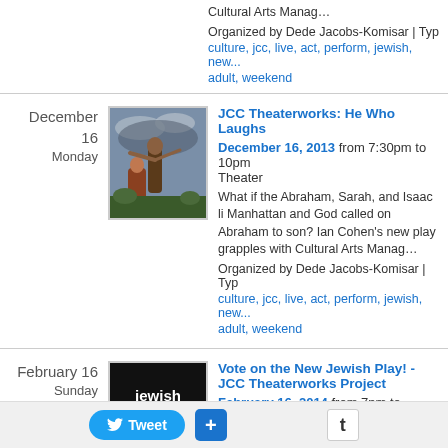Cultural Arts Manag…
Organized by Dede Jacobs-Komisar | Typ
culture, jcc, live, act, perform, jewish, ne
adult, weekend
December 16 Monday
[Figure (photo): Classical painting showing figures in mythological scene]
JCC Theaterworks: He Who Laughs
December 16, 2013 from 7:30pm to 10pm Theater
What if the Abraham, Sarah, and Isaac li Manhattan and God called on Abraham to son? Ian Cohen's new play grapples with Cultural Arts Manag…
Organized by Dede Jacobs-Komisar | Typ culture, jcc, live, act, perform, jewish, ne adult, weekend
February 16 Sunday
[Figure (logo): Jewish Plays Project logo — black background with white and blue text]
Vote on the New Jewish Play! - JCC Theaterworks Project
February 16, 2014 from 7pm to 7:30pm – Haven
Directed by David Winitsky - A showcase in which the audience votes on which pla workshop. Come help choose the next gr Tickets: $25 Adults